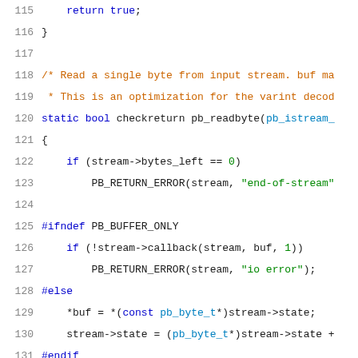Source code listing lines 115-136, C language, showing pb_readbyte function implementation with preprocessor conditionals PB_BUFFER_ONLY